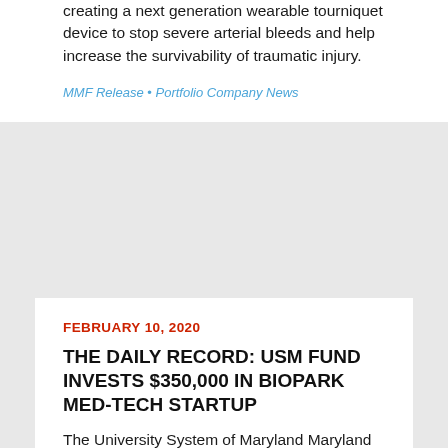creating a next generation wearable tourniquet device to stop severe arterial bleeds and help increase the survivability of traumatic injury.
MMF Release • Portfolio Company News
FEBRUARY 10, 2020
THE DAILY RECORD: USM FUND INVESTS $350,000 IN BIOPARK MED-TECH STARTUP
The University System of Maryland Maryland Momentum Fund and the University of Maryland, Baltimore, have invested $350,000 in a medical technology startup, the 11th investment from the fund.…
MMF Press / Media • Portfolio Company News